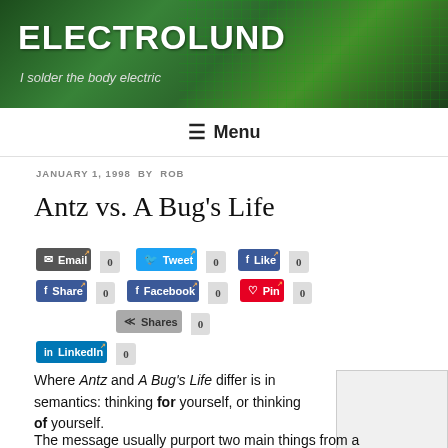ELECTROLUND — I solder the body electric
≡ Menu
JANUARY 1, 1998 BY ROB
Antz vs. A Bug's Life
[Figure (infographic): Social share buttons: Email 0, Tweet 0, Like 0, Share 0, Facebook 0, Pin 0, LinkedIn 0, Shares 0]
Where Antz and A Bug's Life differ is in semantics: thinking for yourself, or thinking of yourself.
The message usually purport two main things from a